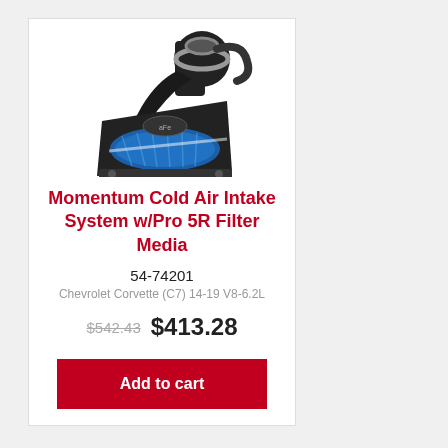[Figure (photo): Cold air intake system product photo — black housing with blue filter media and chrome clamp]
Momentum Cold Air Intake System w/Pro 5R Filter Media
54-74201
Chevrolet Corvette (C7) 14-19 V8-6.2L
$542.43  $413.28
Add to cart